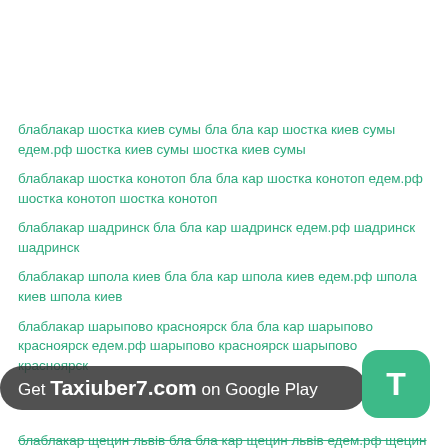блаблакар шостка киев сумы бла бла кар шостка киев сумы едем.рф шостка киев сумы шостка киев сумы
блаблакар шостка конотоп бла бла кар шостка конотоп едем.рф шостка конотоп шостка конотоп
блаблакар шадринск бла бла кар шадринск едем.рф шадринск шадринск
блаблакар шпола киев бла бла кар шпола киев едем.рф шпола киев шпола киев
блаблакар шарыпово красноярск бла бла кар шарыпово красноярск едем.рф шарыпово красноярск шарыпово красноярск
блаблакар щецин львів бла бла кар щецин львів едем.рф щецин